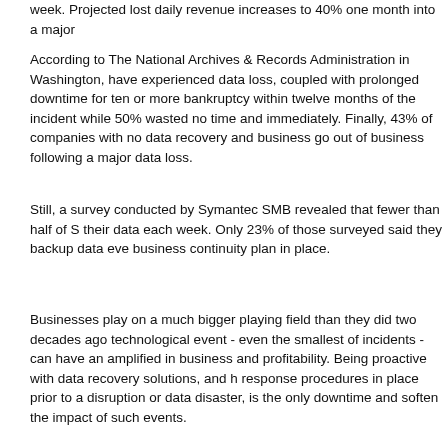week. Projected lost daily revenue increases to 40% one month into a major
According to The National Archives & Records Administration in Washington, have experienced data loss, coupled with prolonged downtime for ten or more bankruptcy within twelve months of the incident while 50% wasted no time and immediately. Finally, 43% of companies with no data recovery and business go out of business following a major data loss.
Still, a survey conducted by Symantec SMB revealed that fewer than half of S their data each week. Only 23% of those surveyed said they backup data eve business continuity plan in place.
Businesses play on a much bigger playing field than they did two decades ago technological event - even the smallest of incidents - can have an amplified impact on business and profitability. Being proactive with data recovery solutions, and having response procedures in place prior to a disruption or data disaster, is the only way to minimize downtime and soften the impact of such events.